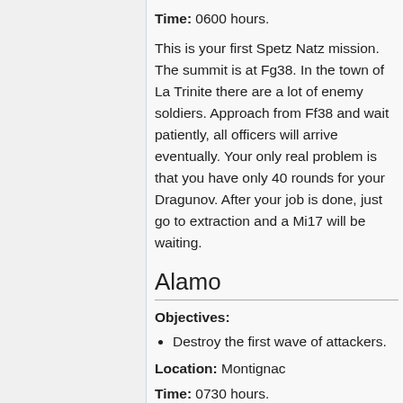Time: 0600 hours.
This is your first Spetz Natz mission. The summit is at Fg38. In the town of La Trinite there are a lot of enemy soldiers. Approach from Ff38 and wait patiently, all officers will arrive eventually. Your only real problem is that you have only 40 rounds for your Dragunov. After your job is done, just go to extraction and a Mi17 will be waiting.
Alamo
Objectives:
Destroy the first wave of attackers.
Location: Montignac
Time: 0730 hours.
You need to build fences to keep enemy tanks from taking control of the city. You